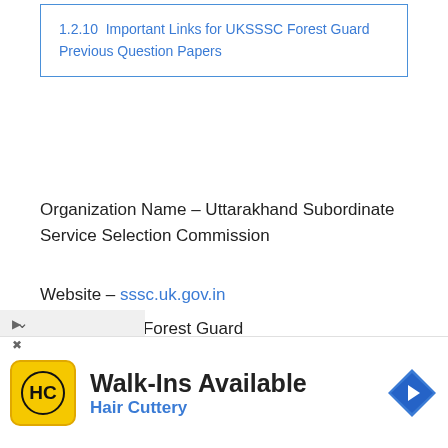1.2.10  Important Links for UKSSSC Forest Guard Previous Question Papers
Organization Name – Uttarakhand Subordinate Service Selection Commission
Website – sssc.uk.gov.in
Post Name – Forest Guard
Total No. Of Posts – 894
Pay Scale – Rs. 21,700 to Rs. 69,100/-
Job Location – Uttarakhand
Notification Date – 24 August 2021
Starting Date – 24 August 2021
[Figure (infographic): Advertisement bar: Hair Cuttery logo (HC in yellow box) with text 'Walk-Ins Available' and 'Hair Cuttery' in blue, plus a blue diamond arrow icon on the right.]